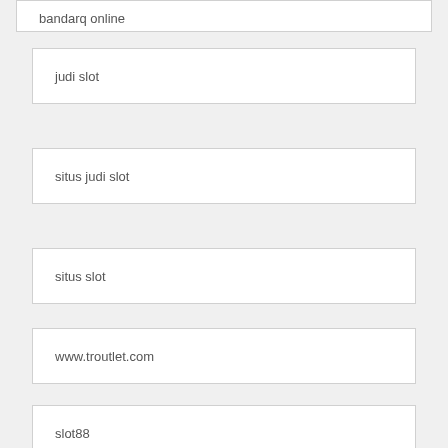bandarq online
judi slot
situs judi slot
situs slot
www.troutlet.com
slot88